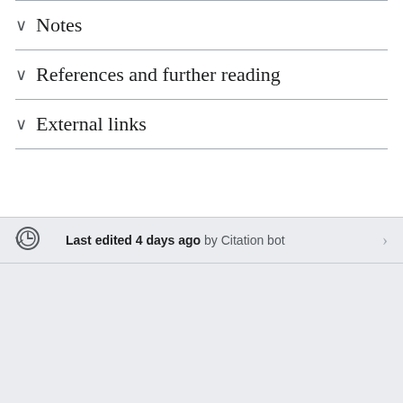Notes
References and further reading
External links
Last edited 4 days ago by Citation bot